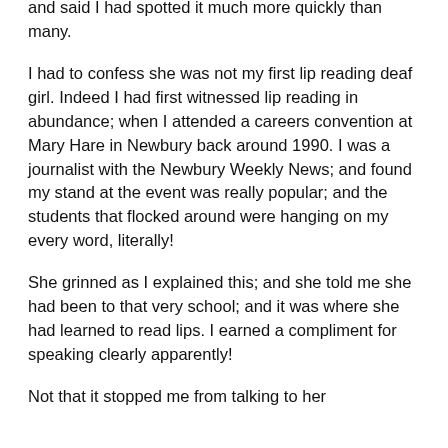and said I had spotted it much more quickly than many.
I had to confess she was not my first lip reading deaf girl. Indeed I had first witnessed lip reading in abundance; when I attended a careers convention at Mary Hare in Newbury back around 1990. I was a journalist with the Newbury Weekly News; and found my stand at the event was really popular; and the students that flocked around were hanging on my every word, literally!
She grinned as I explained this; and she told me she had been to that very school; and it was where she had learned to read lips. I earned a compliment for speaking clearly apparently!
Not that it stopped me from talking to her